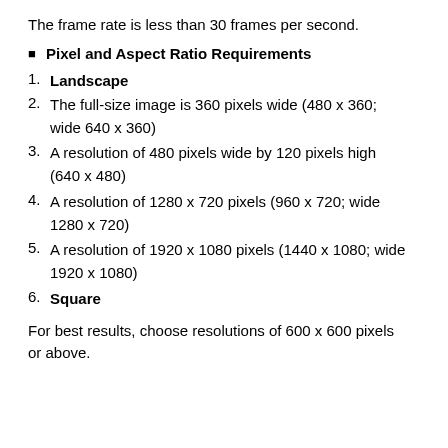The frame rate is less than 30 frames per second.
Pixel and Aspect Ratio Requirements
1. Landscape
2. The full-size image is 360 pixels wide (480 x 360; wide 640 x 360)
3. A resolution of 480 pixels wide by 120 pixels high (640 x 480)
4. A resolution of 1280 x 720 pixels (960 x 720; wide 1280 x 720)
5. A resolution of 1920 x 1080 pixels (1440 x 1080; wide 1920 x 1080)
6. Square
For best results, choose resolutions of 600 x 600 pixels or above.